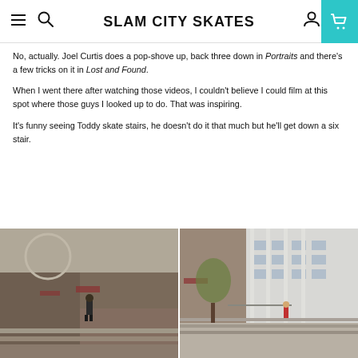SLAM CITY SKATES
No, actually. Joel Curtis does a pop-shove up, back three down in Portraits and there's a few tricks on it in Lost and Found.
When I went there after watching those videos, I couldn't believe I could film at this spot where those guys I looked up to do. That was inspiring.
It's funny seeing Toddy skate stairs, he doesn't do it that much but he'll get down a six stair.
[Figure (photo): Skateboarder on concrete steps/ledges in front of brick building, seen from a distance]
[Figure (photo): Urban concrete plaza with steps and a white modernist building, person in red visible in background]